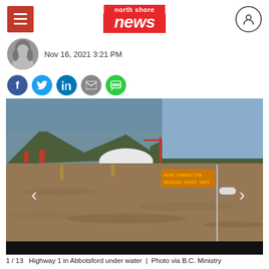north shore news
Nov 16, 2021 3:21 PM
[Figure (photo): Author avatar - black and white photo of a woman with long blonde hair]
[Figure (photo): Highway 1 in Abbotsford under water - flooded road with muddy brown water, mountains in background, sign reading 'HIGH CONGESTION REDUCED SPEED INFO', B.C. Ministry photo. Slideshow showing 1/13.]
1 / 13   Highway 1 in Abbotsford under water | Photo via B.C. Ministry